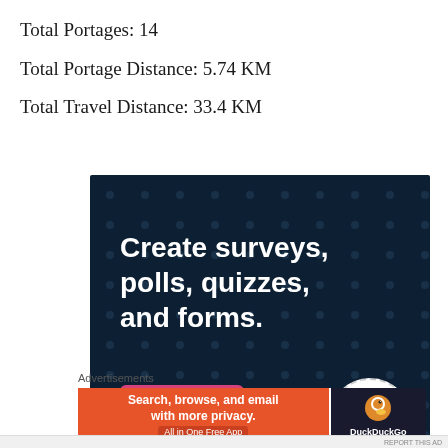Total Portages: 14
Total Portage Distance: 5.74 KM
Total Travel Distance: 33.4 KM
Advertisements
[Figure (screenshot): CrowdSignal advertisement: dark navy background with dots pattern. Headline text: 'Create surveys, polls, quizzes, and forms.' Pink button labeled 'Start now'. CrowdSignal logo in bottom right corner.]
Advertisements
[Figure (screenshot): DuckDuckGo advertisement: orange left side with text 'Search, browse, and email with more privacy. All in One Free App'. Dark right side with DuckDuckGo duck logo.]